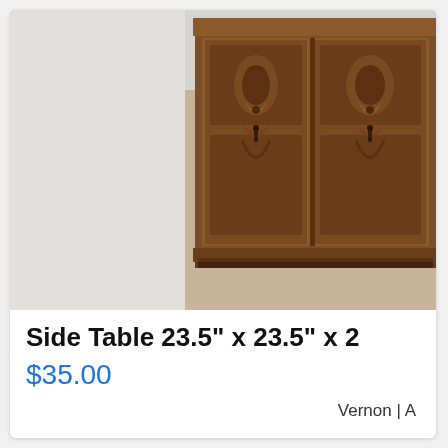[Figure (photo): Close-up photograph of an ornately carved wooden side table or cabinet with decorative scrollwork and panel doors, dark walnut finish, sitting on beige carpet with a light gray wall in the background.]
Side Table 23.5" x 23.5" x 2
$35.00
Vernon | A